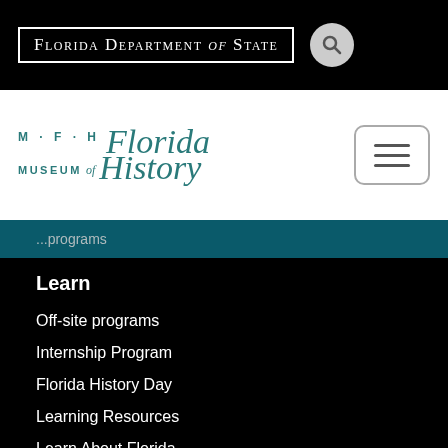[Figure (logo): Florida Department of State logo with search icon button on black header bar]
[Figure (logo): Museum of Florida History logo with MFH initials and script text, plus hamburger menu button on white bar]
...programs
Learn
Off-site programs
Internship Program
Florida History Day
Learning Resources
Learn About Florida
Colonial History Bibliography for Young Readers
Exploring Florida Activity Book
Summer Reading Program